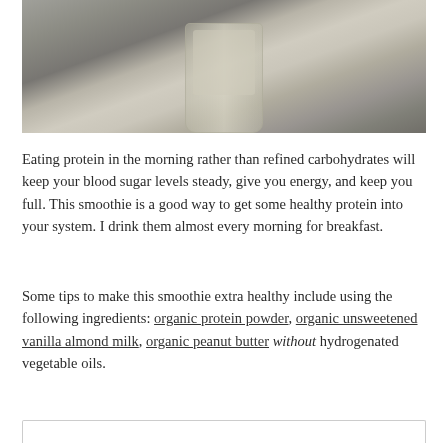[Figure (photo): A glass jar filled with a pale green/cream smoothie, photographed on a gray surface from above at close range.]
Eating protein in the morning rather than refined carbohydrates will keep your blood sugar levels steady, give you energy, and keep you full. This smoothie is a good way to get some healthy protein into your system. I drink them almost every morning for breakfast.
Some tips to make this smoothie extra healthy include using the following ingredients: organic protein powder, organic unsweetened vanilla almond milk, organic peanut butter without hydrogenated vegetable oils.